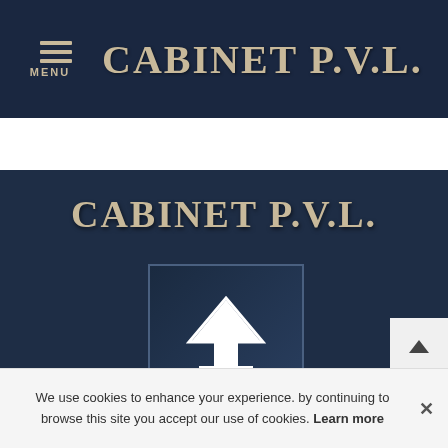CABINET P.V.L.
CABINET P.V.L.
[Figure (illustration): Upload/share icon — white upward arrow inside a house silhouette outline, on dark blue gradient background within a square border]
[Figure (illustration): Social media icons row: Facebook (f), Twitter (bird), and a star/bookmark icon, in white on dark background]
[Figure (illustration): Scroll-to-top button: small triangle/arrow pointing up on light grey square background]
We use cookies to enhance your experience. by continuing to browse this site you accept our use of cookies. Learn more